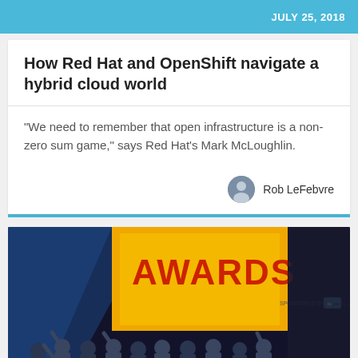JULY 25, 2018
How Red Hat and OpenShift navigate a hybrid cloud world
“We need to remember that open infrastructure is a non-zero sum game,” says Red Hat’s Mark McLoughlin.
Rob LeFebvre
[Figure (photo): Group of people on a stage in front of a large yellow AWARDS banner with 'SPONSORED BY zenko.io' text]
From Tutorials to Case Studies. Share your